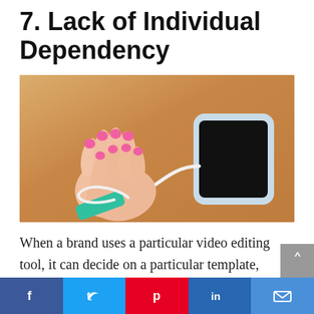7. Lack of Individual Dependency
[Figure (photo): Overhead view of two hands clasped together bound by a white phone charging cable, with a smartphone on a light wood surface. Person wears a teal smartwatch/fitness band on wrist. The cable connects the tied hands to the smartphone.]
When a brand uses a particular video editing tool, it can decide on a particular template, theme, and color scheme for
[Figure (other): Social sharing bar at bottom with Facebook (blue), Twitter (light blue), Pinterest (red), LinkedIn (blue), and email (blue) buttons]